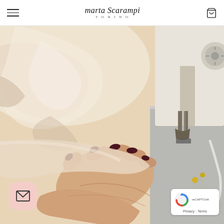marta Scarampi TORINO
[Figure (photo): Close-up photograph of a hand with dark red nail polish guiding cream/ivory silk fabric under a sewing machine needle on a worktable. A sewing pin with a yellow head is visible in the background on the right side.]
[Figure (other): Pink rounded-square mail/envelope icon button in the bottom left corner]
[Figure (other): Google reCAPTCHA badge widget in the bottom right corner showing the reCAPTCHA logo and Privacy - Terms links]